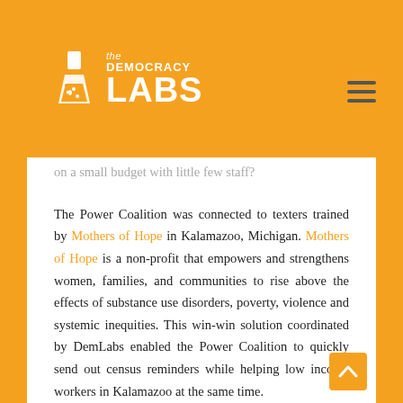[Figure (logo): The Democracy Labs logo: orange flask/beaker icon with white text 'the DEMOCRACY LABS']
on a small budget with little few staff?
The Power Coalition was connected to texters trained by Mothers of Hope in Kalamazoo, Michigan. Mothers of Hope is a non-profit that empowers and strengthens women, families, and communities to rise above the effects of substance use disorders, poverty, violence and systemic inequities. This win-win solution coordinated by DemLabs enabled the Power Coalition to quickly send out census reminders while helping low income workers in Kalamazoo at the same time.